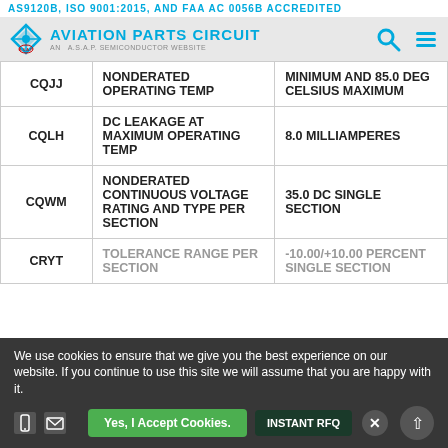AS9120B, ISO 9001:2015, AND FAA AC 0056B ACCREDITED
AVIATION PARTS CIRCUIT — AN A.S.A.P. SEMICONDUCTOR WEBSITE
| Code | Description | Value |
| --- | --- | --- |
| CQJJ | NONDERATED OPERATING TEMP | MINIMUM AND 85.0 DEG CELSIUS MAXIMUM |
| CQLH | DC LEAKAGE AT MAXIMUM OPERATING TEMP | 8.0 MILLIAMPERES |
| CQWM | NONDERATED CONTINUOUS VOLTAGE RATING AND TYPE PER SECTION | 35.0 DC SINGLE SECTION |
| CRYT | TOLERANCE RANGE PER SECTION | -10.00/+10.00 PERCENT SINGLE SECTION |
We use cookies to ensure that we give you the best experience on our website. If you continue to use this site we will assume that you are happy with it.